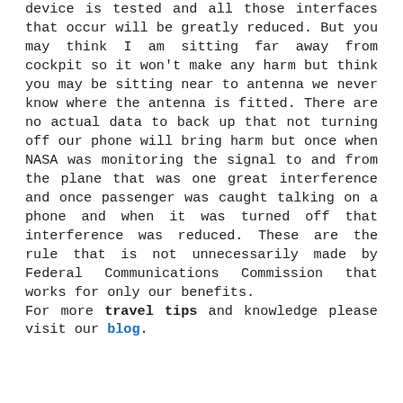device is tested and all those interfaces that occur will be greatly reduced. But you may think I am sitting far away from cockpit so it won't make any harm but think you may be sitting near to antenna we never know where the antenna is fitted. There are no actual data to back up that not turning off our phone will bring harm but once when NASA was monitoring the signal to and from the plane that was one great interference and once passenger was caught talking on a phone and when it was turned off that interference was reduced. These are the rule that is not unnecessarily made by Federal Communications Commission that works for only our benefits.
For more travel tips and knowledge please visit our blog.